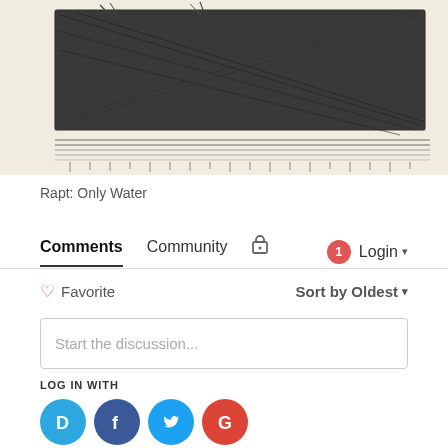[Figure (illustration): Black and white ink sketch showing a dark, heavily cross-hatched architectural or landscape scene on a beige/cream background]
Rapt: Only Water
Comments   Community   🔒   1   Login ▾
♡ Favorite   Sort by Oldest ▾
Start the discussion...
LOG IN WITH
[Figure (logo): Social login icons: Disqus (D, cyan), Facebook (f, blue), Twitter (bird, light blue), Google (G, red)]